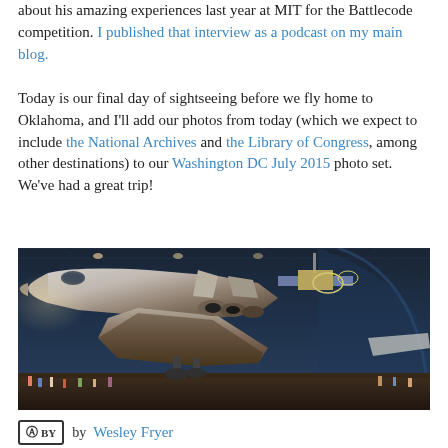about his amazing experiences last year at MIT for the Battlecode competition. I published that interview as a podcast on my main blog.
Today is our final day of sightseeing before we fly home to Oklahoma, and I'll add our photos from today (which we expect to include the National Archives and the Library of Congress, among other destinations) to our Washington DC July 2015 photo set. We've had a great trip!
[Figure (photo): Interior of an aviation museum hangar showing a space shuttle on display, with visitors on the floor below. A satellite is visible hanging from the ceiling beside the shuttle. The hangar has a large curved roof with structural beams.]
by Wesley Fryer